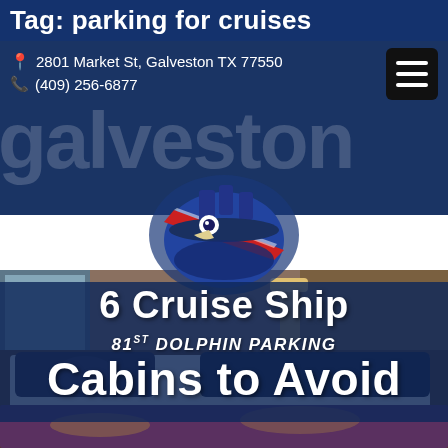Tag: parking for cruises
2801 Market St, Galveston TX 77550
(409) 256-6877
[Figure (logo): 81st Dolphin Parking logo with dolphin mascot wearing a blue cap with red stripe, set against blue background]
6 Cruise Ship 81ST DOLPHIN PARKING Cabins to Avoid
[Figure (photo): Interior of a cruise ship cabin showing a bed with dark pillows and patterned bedspread, wooden paneling, and a porthole window]